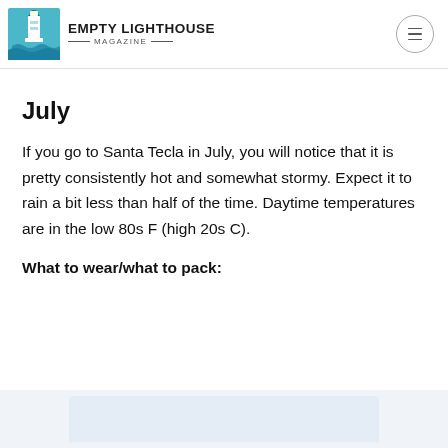EMPTY LIGHTHOUSE MAGAZINE
July
If you go to Santa Tecla in July, you will notice that it is pretty consistently hot and somewhat stormy. Expect it to rain a bit less than half of the time. Daytime temperatures are in the low 80s F (high 20s C).
What to wear/what to pack:
[Figure (screenshot): Partial view of a widget or image at the bottom of the page, showing a light blue/gray background strip with rounded top corners.]